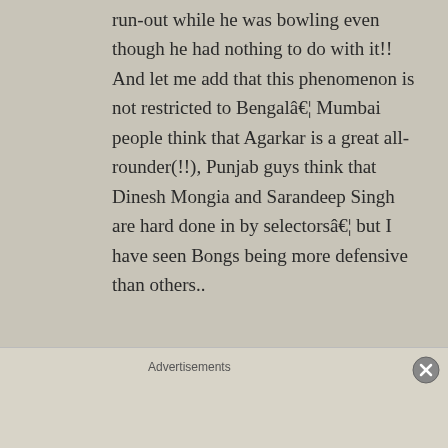run-out while he was bowling even though he had nothing to do with it!! And let me add that this phenomenon is not restricted to Bengalâ€¦ Mumbai people think that Agarkar is a great all-rounder(!!), Punjab guys think that Dinesh Mongia and Sarandeep Singh are hard done in by selectorsâ€¦ but I have seen Bongs being more defensive than others..
5. However, I agree that the degree of Ganguly-Bengali interchangeability is
Advertisements